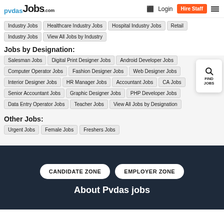pvdas Jobs.com — Login | Hire Staff
Industry Jobs | Healthcare Industry Jobs | Hospital Industry Jobs | Retail Industry Jobs | View All Jobs by Industry
Jobs by Designation:
Salesman Jobs | Digital Print Designer Jobs | Android Developer Jobs | Computer Operator Jobs | Fashion Designer Jobs | Web Designer Jobs | Interior Designer Jobs | HR Manager Jobs | Accountant Jobs | CA Jobs | Senior Accountant Jobs | Graphic Designer Jobs | PHP Developer Jobs | Data Entry Operator Jobs | Teacher Jobs | View All Jobs by Designation
Other Jobs:
Urgent Jobs | Female Jobs | Freshers Jobs
CANDIDATE ZONE | EMPLOYER ZONE
About Pvdas jobs